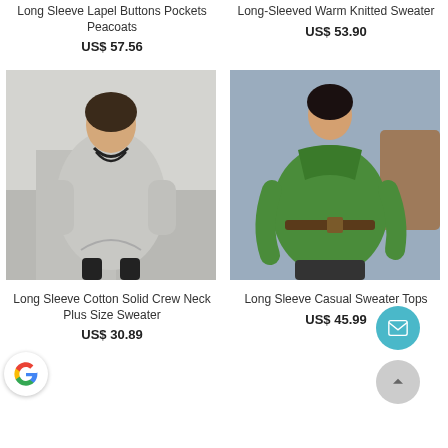Long Sleeve Lapel Buttons Pockets Peacoats
US$ 57.56
Long-Sleeved Warm Knitted Sweater
US$ 53.90
[Figure (photo): Woman wearing a gray long sleeve cotton solid crew neck oversized sweater with crossover hem, black leggings and boots]
[Figure (photo): Woman wearing a green long sleeve casual sweater top with off-shoulder fold-over collar and brown belt]
Long Sleeve Cotton Solid Crew Neck Plus Size Sweater
US$ 30.89
Long Sleeve Casual Sweater Tops
US$ 45.99